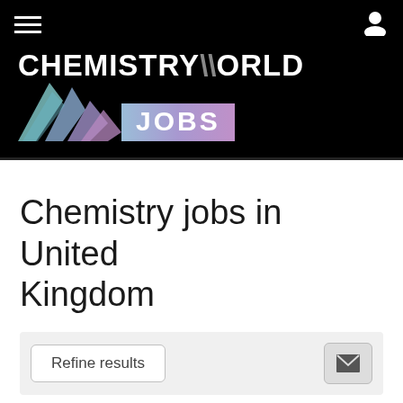[Figure (logo): Chemistry World Jobs logo on black background with geometric shapes]
Chemistry jobs in United Kingdom
Refine results
Found 32 Full Time jobs